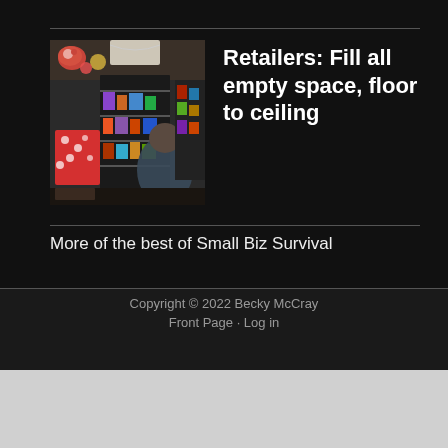[Figure (photo): Interior of a crowded retail shop with merchandise hanging from ceiling and stacked on shelves floor to ceiling]
Retailers: Fill all empty space, floor to ceiling
More of the best of Small Biz Survival
Copyright © 2022 Becky McCray
Front Page · Log in